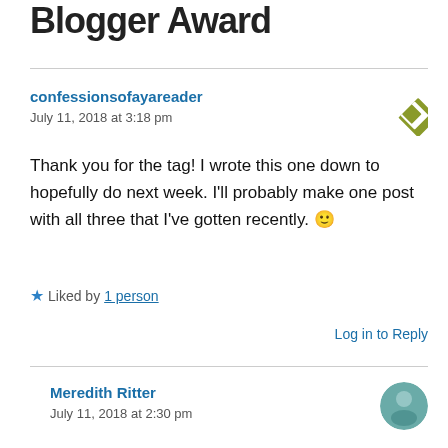Blogger Award
confessionsofayareader
July 11, 2018 at 3:18 pm
Thank you for the tag! I wrote this one down to hopefully do next week. I'll probably make one post with all three that I've gotten recently. 🙂
★ Liked by 1 person
Log in to Reply
Meredith Ritter
July 11, 2018 at 2:30 pm